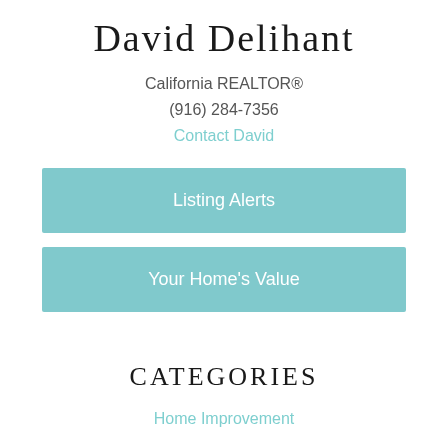David Delihant
California REALTOR®
(916) 284-7356
Contact David
Listing Alerts
Your Home's Value
Categories
Home Improvement